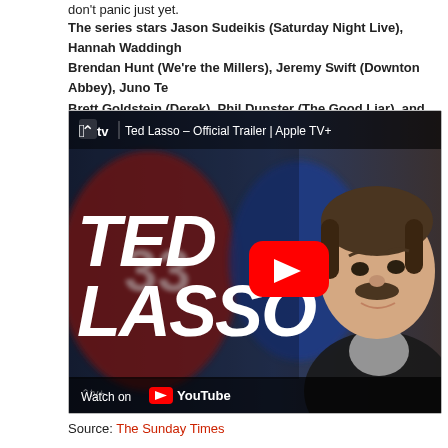don't panic just yet.
The series stars Jason Sudeikis (Saturday Night Live), Hannah Waddingham, Brendan Hunt (We're the Millers), Jeremy Swift (Downton Abbey), Juno Te Brett Goldstein (Derek), Phil Dunster (The Good Liar), and Nick Mohammed
[Figure (screenshot): YouTube embedded video thumbnail for 'Ted Lasso — Official Trailer | Apple TV+'. Shows a man with a mustache against a blurred locker room background. Large white italic text reads 'TED LASSO'. A red YouTube play button is centered. Top bar shows Apple TV logo and trailer title. Bottom bar shows 'Watch on YouTube'.]
Source: The Sunday Times